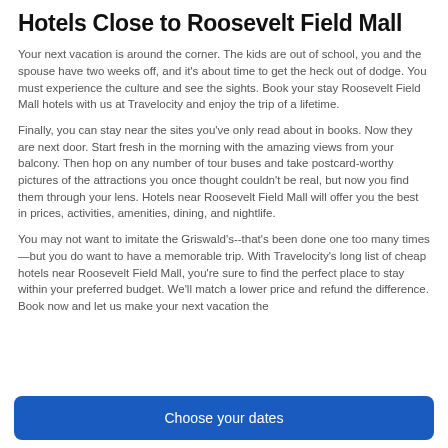Hotels Close to Roosevelt Field Mall
Your next vacation is around the corner. The kids are out of school, you and the spouse have two weeks off, and it's about time to get the heck out of dodge. You must experience the culture and see the sights. Book your stay Roosevelt Field Mall hotels with us at Travelocity and enjoy the trip of a lifetime.
Finally, you can stay near the sites you've only read about in books. Now they are next door. Start fresh in the morning with the amazing views from your balcony. Then hop on any number of tour buses and take postcard-worthy pictures of the attractions you once thought couldn't be real, but now you find them through your lens. Hotels near Roosevelt Field Mall will offer you the best in prices, activities, amenities, dining, and nightlife.
You may not want to imitate the Griswald's--that's been done one too many times—but you do want to have a memorable trip. With Travelocity's long list of cheap hotels near Roosevelt Field Mall, you're sure to find the perfect place to stay within your preferred budget. We'll match a lower price and refund the difference. Book now and let us make your next vacation the …
Choose your dates